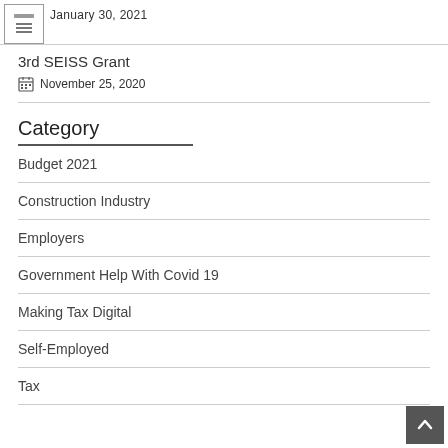January 30, 2021
3rd SEISS Grant
November 25, 2020
Category
Budget 2021
Construction Industry
Employers
Government Help With Covid 19
Making Tax Digital
Self-Employed
Tax